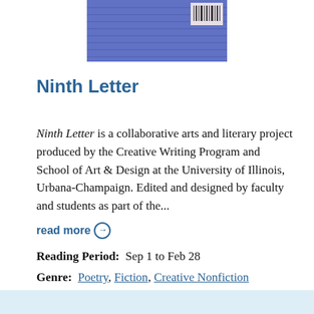[Figure (illustration): Book cover image for Ninth Letter — a purple/blue abstract cover with a barcode visible at upper right]
Ninth Letter
Ninth Letter is a collaborative arts and literary project produced by the Creative Writing Program and School of Art & Design at the University of Illinois, Urbana-Champaign. Edited and designed by faculty and students as part of the...
read more →
Reading Period:  Sep 1 to Feb 28
Genre:  Poetry, Fiction, Creative Nonfiction